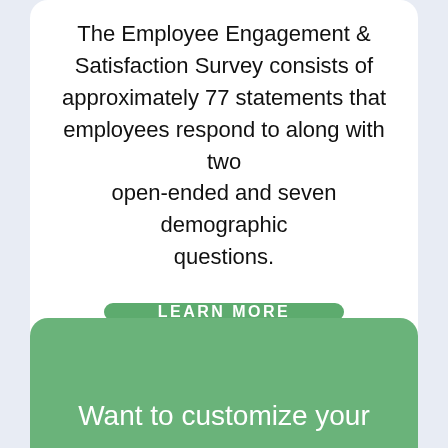The Employee Engagement & Satisfaction Survey consists of approximately 77 statements that employees respond to along with two open-ended and seven demographic questions.
[Figure (other): Green rounded button with text LEARN MORE in white uppercase letters]
Want to customize your